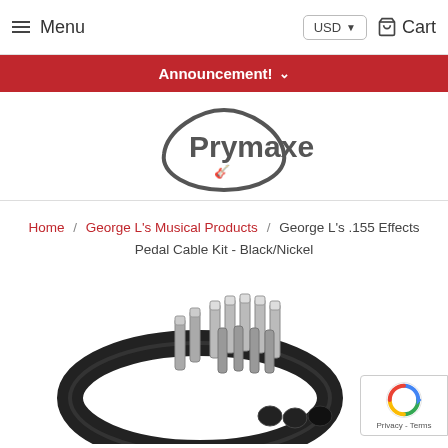Menu | USD | Cart
Announcement!
[Figure (logo): Prymaxe logo with guitar pick icon]
Home / George L's Musical Products / George L's .155 Effects Pedal Cable Kit - Black/Nickel
[Figure (photo): George L's .155 Effects Pedal Cable Kit showing black cable coiled in a circle with multiple silver/nickel jack connectors and black end caps]